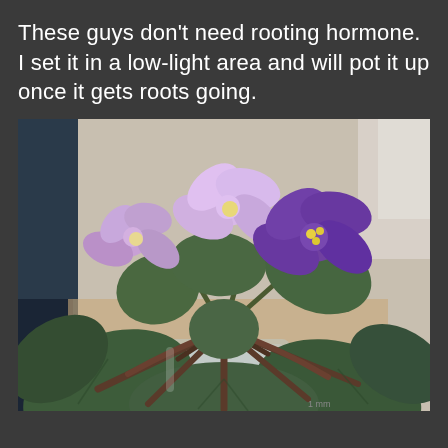These guys don't need rooting hormone.  I set it in a low-light area and will pot it up once it gets roots going.
[Figure (photo): Close-up photograph of an African violet plant with purple and light lavender flowers and dark green fuzzy leaves, sitting in what appears to be a glass of water on a table.]